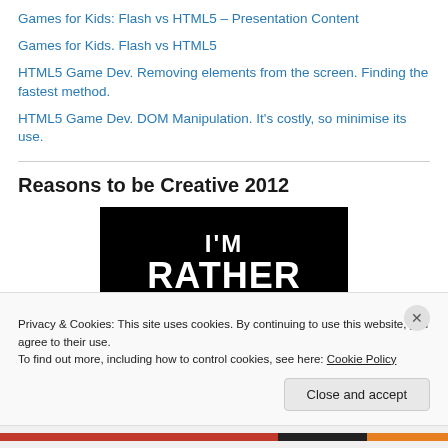Games for Kids: Flash vs HTML5 – Presentation Content
Games for Kids. Flash vs HTML5
HTML5 Game Dev. Removing elements from the screen. Finding the fastest method.
HTML5 Game Dev. DOM Manipulation. It's costly, so minimise its use.
Reasons to be Creative 2012
[Figure (photo): Black background image with bold white graffiti-style text reading I'M RATHER (with CREATIVE partially visible below)]
Privacy & Cookies: This site uses cookies. By continuing to use this website, you agree to their use.
To find out more, including how to control cookies, see here: Cookie Policy
Close and accept